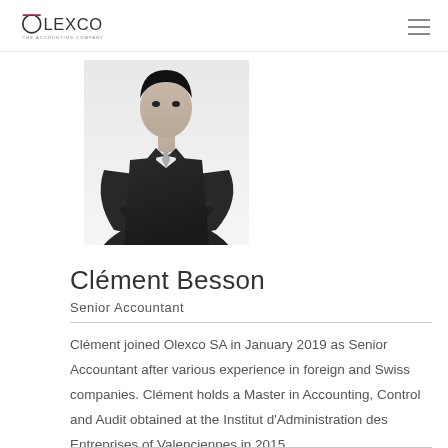OLEXCO — The Accounting Company
[Figure (photo): Black and white photo of Clément Besson in a dark suit with arms crossed]
Clément Besson
Senior Accountant
Clément joined Olexco SA in January 2019 as Senior Accountant after various experience in foreign and Swiss companies. Clément holds a Master in Accounting, Control and Audit obtained at the Institut d'Administration des Entreprises of Valenciennes in 2015.